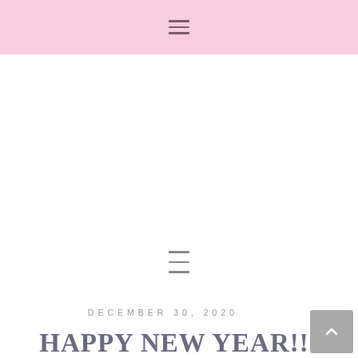≡ (hamburger menu icon)
≡ (hamburger menu icon - navigation bar)
DECEMBER 30, 2020
HAPPY NEW YEAR!!!